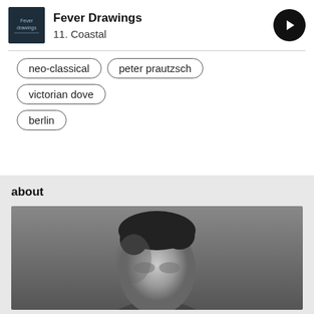Fever Drawings
11. Coastal
neo-classical
peter prautzsch
victorian dove
berlin
about
[Figure (photo): Black and white portrait photo of a man with dark hair, looking slightly downward, against a grey background]